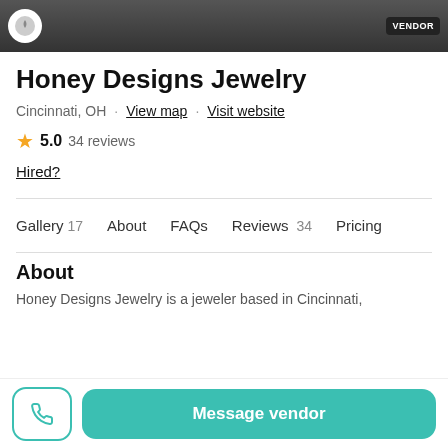[Figure (screenshot): Dark header image with logo circle on left and dark badge on right]
Honey Designs Jewelry
Cincinnati, OH · View map · Visit website
★ 5.0  34 reviews
Hired?
Gallery 17   About   FAQs   Reviews 34   Pricing
About
Honey Designs Jewelry is a jeweler based in Cincinnati,
Message vendor